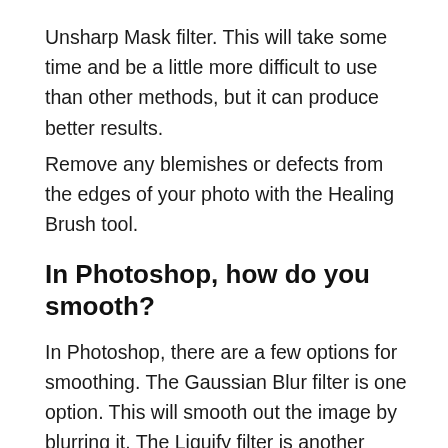Unsharp Mask filter. This will take some time and be a little more difficult to use than other methods, but it can produce better results.
Remove any blemishes or defects from the edges of your photo with the Healing Brush tool.
In Photoshop, how do you smooth?
In Photoshop, there are a few options for smoothing. The Gaussian Blur filter is one option. This will smooth out the image by blurring it. The Liquify filter is another option. This can be used to warp areas of an image to smooth them out.